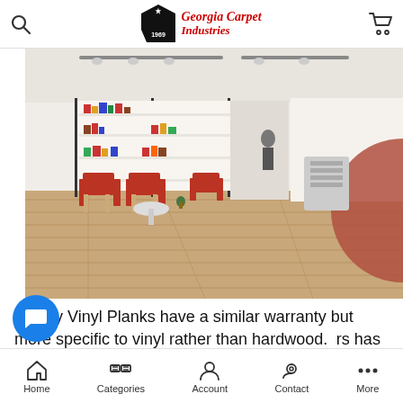Georgia Carpet Industries
[Figure (photo): Interior room with luxury vinyl plank flooring, red chairs, white shelving unit with books and decor, glass partition walls, track lighting on ceiling.]
Luxury Vinyl Planks have a similar warranty but more specific to vinyl rather than hardwood. [text continues] has more to do with permanent staining [text continues] the surface layer rather than peeling. They
Home  Categories  Account  Contact  More